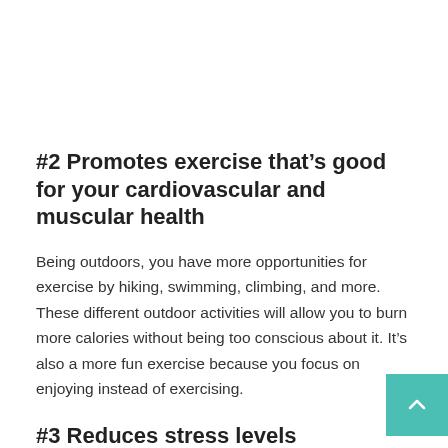#2 Promotes exercise that's good for your cardiovascular and muscular health
Being outdoors, you have more opportunities for exercise by hiking, swimming, climbing, and more. These different outdoor activities will allow you to burn more calories without being too conscious about it. It's also a more fun exercise because you focus on enjoying instead of exercising.
#3 Reduces stress levels